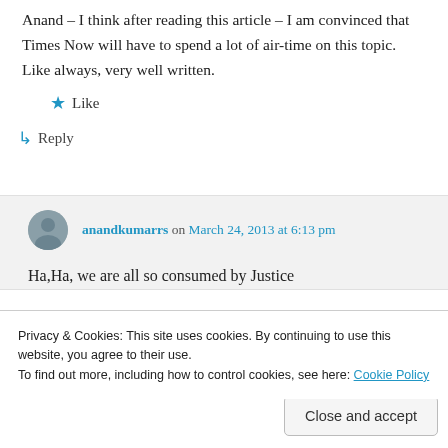Anand – I think after reading this article – I am convinced that Times Now will have to spend a lot of air-time on this topic. Like always, very well written.
★ Like
↳ Reply
anandkumarrs on March 24, 2013 at 6:13 pm
Ha,Ha, we are all so consumed by Justice
Privacy & Cookies: This site uses cookies. By continuing to use this website, you agree to their use.
To find out more, including how to control cookies, see here: Cookie Policy
Close and accept